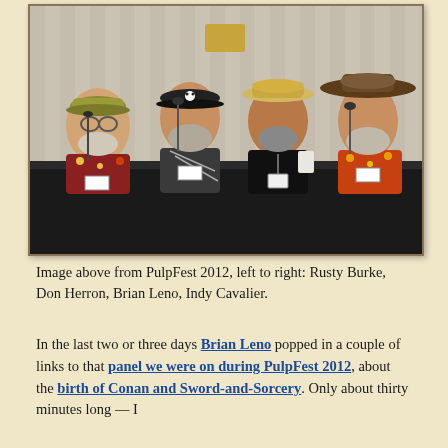[Figure (photo): Four men seated at a panel table with a black tablecloth, each wearing hats. From left to right: Rusty Burke (floral shirt, yellow cap), Don Herron (black/white patterned shirt, black cap), Brian Leno (black shirt, tan/straw hat), Indy Cavalier (floral shirt, brown wide-brim hat). Microphones on stands visible. Background is a light patterned wall.]
Image above from PulpFest 2012, left to right: Rusty Burke, Don Herron, Brian Leno, Indy Cavalier.
In the last two or three days Brian Leno popped in a couple of links to that panel we were on during PulpFest 2012, about the birth of Conan and Sword-and-Sorcery. Only about thirty minutes long — I